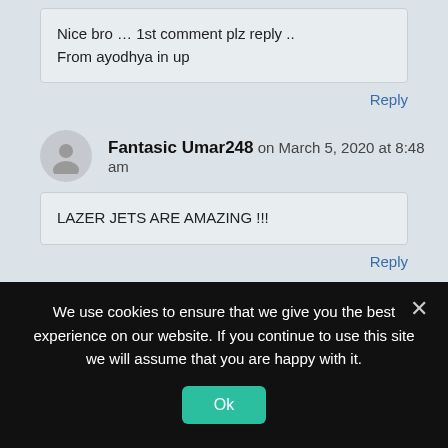Nice bro … 1st comment plz reply ..
From ayodhya in up
Reply
Fantasic Umar248 on March 5, 2020 at 8:48 am
LAZER JETS ARE AMAZING !!!
Reply
ranjit nayak on March 5, 2020 at 8:48 am
We use cookies to ensure that we give you the best experience on our website. If you continue to use this site we will assume that you are happy with it.